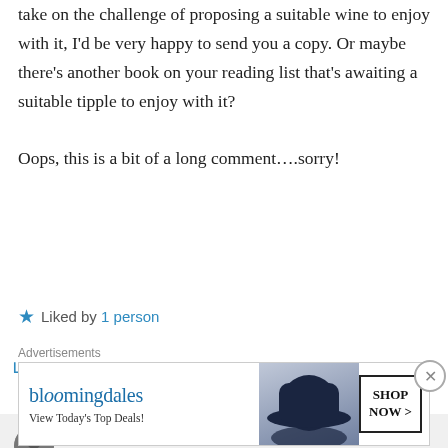take on the challenge of proposing a suitable wine to enjoy with it, I'd be very happy to send you a copy. Or maybe there's another book on your reading list that's awaiting a suitable tipple to enjoy with it?
Oops, this is a bit of a long comment….sorry!
Liked by 1 person
↳ Reply
the drunken cyclist on November 27, 2016 at 23:28
Advertisements
[Figure (screenshot): Bloomingdale's advertisement banner: logo, 'View Today's Top Deals!', photo of woman with hat, SHOP NOW button]